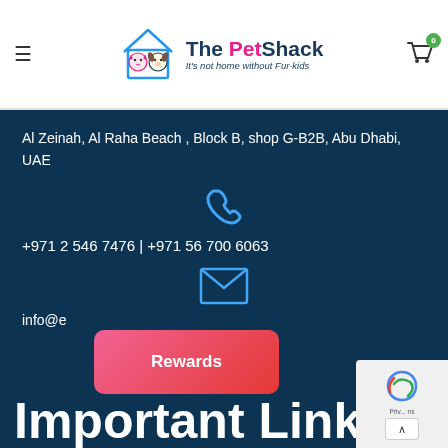[Figure (logo): The PetShack logo with house icon containing cat and dog faces, tagline: It's not home without Fur-kids]
Al Zeinah, Al Raha Beach , Block B, shop G-B2B, Abu Dhabi, UAE
[Figure (illustration): Phone/call icon in light blue]
+971 2 546 7476 | +971 56 700 6063
[Figure (illustration): Email envelope icon in light blue]
info@...e
Rewards
Important Links